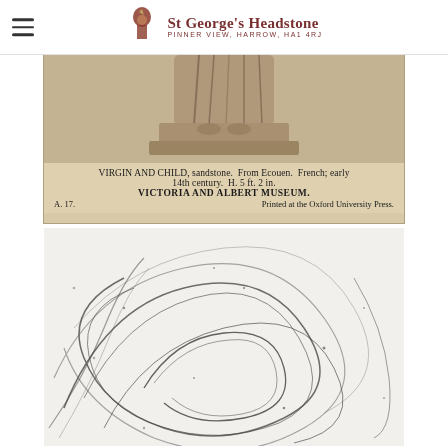St George's Headstone — PINNER VIEW, HARROW, HA1 4RJ
[Figure (photo): Black and white museum card showing a Virgin and Child sandstone sculpture from Ecouen, French, early 14th century, H. 5 ft. 2 in. Victoria and Albert Museum. Printed at the Oxford University Press. Card reference A. 17.]
VIRGIN AND CHILD, sandstone. From Ecouen. French; early 14th century. H. 5 ft. 2 in. VICTORIA AND ALBERT MUSEUM. A. 17. Printed at the Oxford University Press.
[Figure (photo): Black and white sketch or rubbing showing swirling curvilinear patterns, possibly a decorative stone carving or textile pattern detail.]